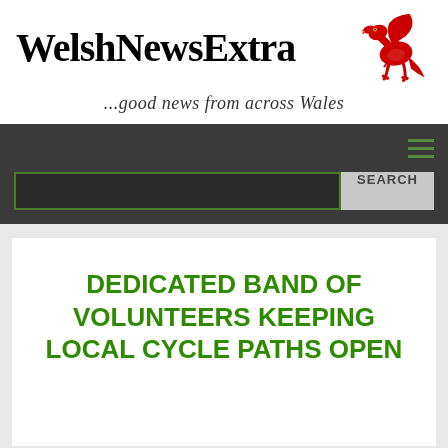[Figure (logo): WelshNewsExtra logo with red Welsh dragon on right and bold serif text on left]
...good news from across Wales
DEDICATED BAND OF VOLUNTEERS KEEPING LOCAL CYCLE PATHS OPEN